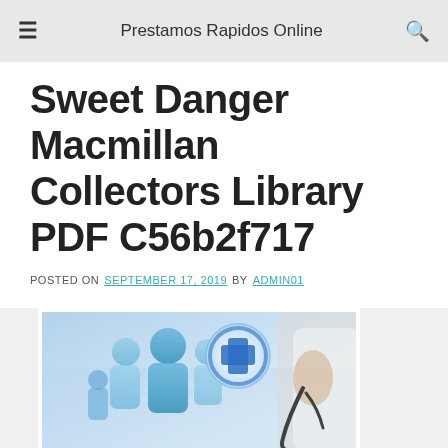Prestamos Rapidos Online
Sweet Danger Macmillan Collectors Library PDF C56b2f717
POSTED ON SEPTEMBER 17, 2019 BY ADMIN01
[Figure (photo): A doctor or medical professional holding a stethoscope with blue healthcare icons and silhouettes of people in the background]